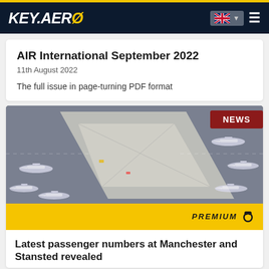KEY.AERO
AIR International September 2022
11th August 2022
The full issue in page-turning PDF format
[Figure (photo): Aerial view of airport terminal with multiple aircraft parked at gates, with NEWS badge overlay]
PREMIUM
Latest passenger numbers at Manchester and Stansted revealed